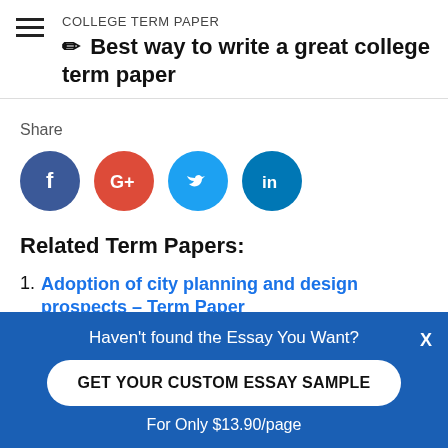COLLEGE TERM PAPER
✏ Best way to write a great college term paper
Share
[Figure (other): Social media share icons: Facebook (blue circle), Google+ (red circle), Twitter (light blue circle), LinkedIn (dark blue circle)]
Related Term Papers:
Adoption of city planning and design prospects – Term Paper
Strategy Memo Taco Bell Case – Term Paper
Haven't found the Essay You Want? GET YOUR CUSTOM ESSAY SAMPLE For Only $13.90/page